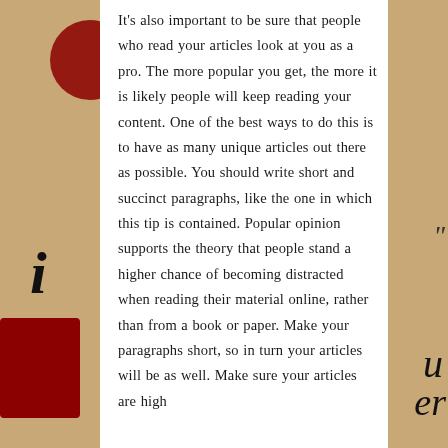It's also important to be sure that people who read your articles look at you as a pro. The more popular you get, the more it is likely people will keep reading your content. One of the best ways to do this is to have as many unique articles out there as possible. You should write short and succinct paragraphs, like the one in which this tip is contained. Popular opinion supports the theory that people stand a higher chance of becoming distracted when reading their material online, rather than from a book or paper. Make your paragraphs short, so in turn your articles will be as well. Make sure your articles are high